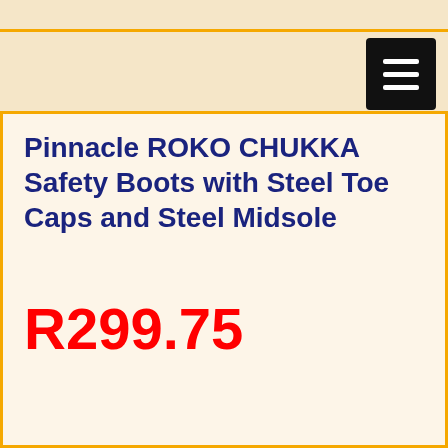Pinnacle ROKO CHUKKA Safety Boots with Steel Toe Caps and Steel Midsole
R299.75